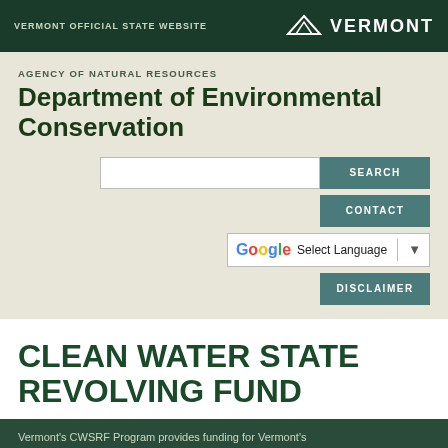VERMONT OFFICIAL STATE WEBSITE
AGENCY OF NATURAL RESOURCES
Department of Environmental Conservation
SEARCH
CONTACT
Select Language
DISCLAIMER
CLEAN WATER STATE REVOLVING FUND
Vermont's CWSRF Program provides funding for Vermont's Clean Water projects in the form of low interest loans to
MENU